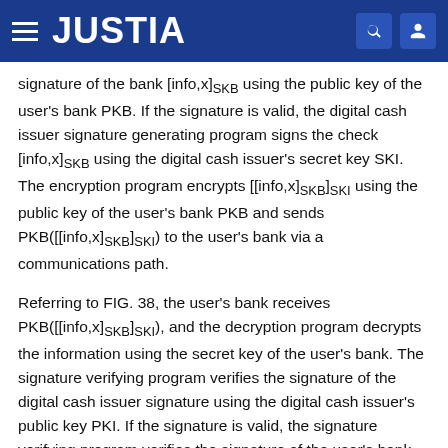JUSTIA
signature of the bank [info,x]SKB using the public key of the user's bank PKB. If the signature is valid, the digital cash issuer signature generating program signs the check [info,x]SKB using the digital cash issuer's secret key SKI. The encryption program encrypts [[info,x]SKB]SKI using the public key of the user's bank PKB and sends PKB([[info,x]SKB]SKI) to the user's bank via a communications path.
Referring to FIG. 38, the user's bank receives PKB([[info,x]SKB]SKI), and the decryption program decrypts the information using the secret key of the user's bank. The signature verifying program verifies the signature of the digital cash issuer signature using the digital cash issuer's public key PKI. If the signature is valid, the signature verifying program verifies the signature of the user's bank using the public key of the